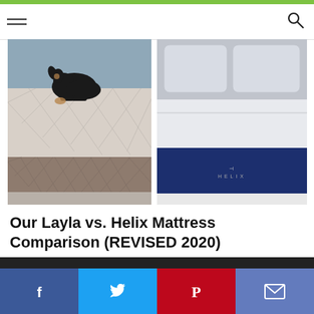[Figure (photo): Two mattresses side by side: left shows a Layla mattress with a small black dog on top, right shows a Helix mattress with navy blue side panel]
Our Layla vs. Helix Mattress Comparison (REVISED 2020)
Facebook | Twitter | Pinterest | Email share buttons